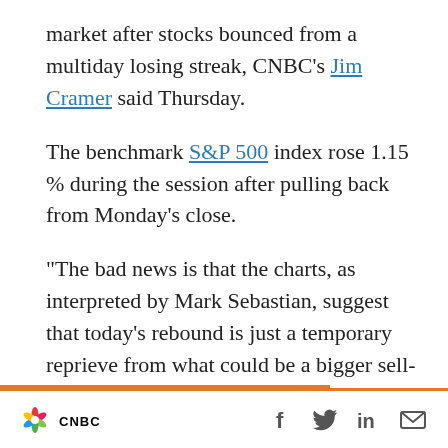market after stocks bounced from a multiday losing streak, CNBC’s Jim Cramer said Thursday.
The benchmark S&P 500 index rose 1.15 % during the session after pulling back from Monday’s close.
“The bad news is that the charts, as interpreted by Mark Sebastian, suggest that today’s rebound is just a temporary reprieve from what could be a bigger sell-off,” the “Mad Money” host said. “But once the last leg lower runs out, well, then, he thinks we could get a real, buyable bottom.”
CNBC [social icons: Facebook, Twitter, LinkedIn, Email]